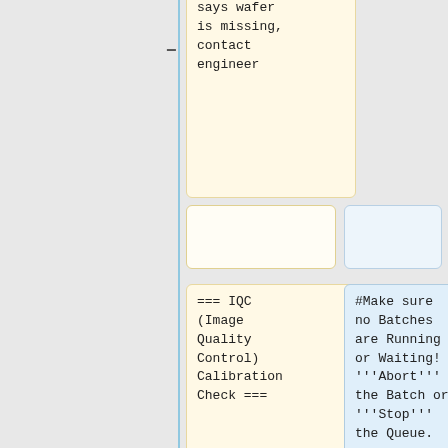[Figure (flowchart): Flowchart showing IQC calibration check steps. Contains yellow and blue cards connected by a vertical blue line with minus/plus symbols. Top yellow card: 'says wafer is missing, contact engineer'. Empty yellow and blue cards in middle row. Yellow card: '=== IQC (Image Quality Control) Calibration Check ==='. Blue card: '#Make sure no Batches are Running or Waiting! Abort the Batch or Stop the Queue.' Bottom yellow card: '# Main Menu > Test Manager > Run Tests > Metrology Verification > Image'. Bottom blue card: '##Never exit the Task Streaming screen while Batches are incomplete/running, you'.]